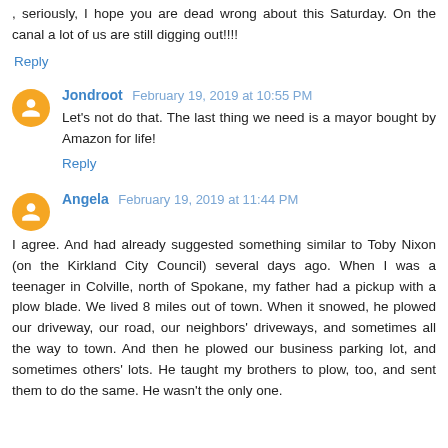, seriously, I hope you are dead wrong about this Saturday. On the canal a lot of us are still digging out!!!!
Reply
Jondroot February 19, 2019 at 10:55 PM
Let's not do that. The last thing we need is a mayor bought by Amazon for life!
Reply
Angela February 19, 2019 at 11:44 PM
I agree. And had already suggested something similar to Toby Nixon (on the Kirkland City Council) several days ago. When I was a teenager in Colville, north of Spokane, my father had a pickup with a plow blade. We lived 8 miles out of town. When it snowed, he plowed our driveway, our road, our neighbors' driveways, and sometimes all the way to town. And then he plowed our business parking lot, and sometimes others' lots. He taught my brothers to plow, too, and sent them to do the same. He wasn't the only one.